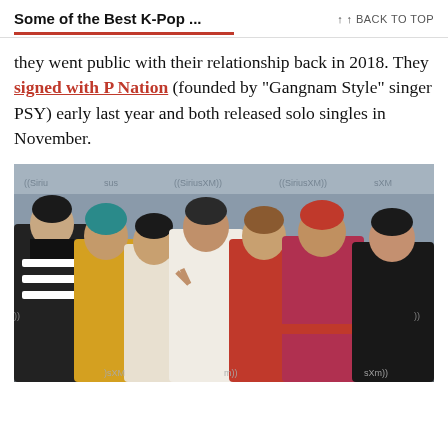Some of the Best K-Pop ...
they went public with their relationship back in 2018. They signed with P Nation (founded by “Gangnam Style” singer PSY) early last year and both released solo singles in November.
[Figure (photo): Group photo of seven young men (BTS) posing in front of a SiriusXM branded backdrop. Members wear various outfits including striped black-and-white sweater, yellow top, white sweater, red hoodie, pink jacket, red-accented varsity jacket, and all-black outfit. Some members make peace signs. Background shows SiriusXM logos.]